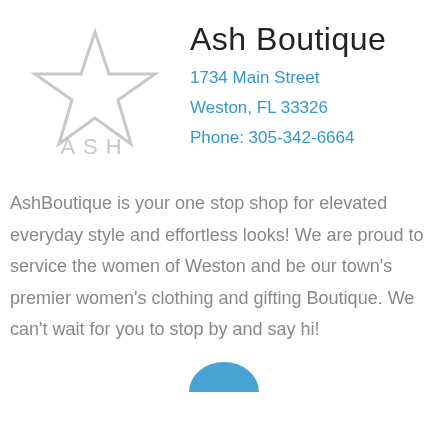[Figure (logo): ASH Boutique logo: a light gray outlined star above the text 'ASH' in light gray letters]
Ash Boutique
1734 Main Street
Weston, FL 33326
Phone: 305-342-6664
AshBoutique is your one stop shop for elevated everyday style and effortless looks! We are proud to service the women of Weston and be our town's premier women's clothing and gifting Boutique. We can't wait for you to stop by and say hi!
[Figure (logo): Partial teal/blue circular logo at bottom center, mostly cut off]